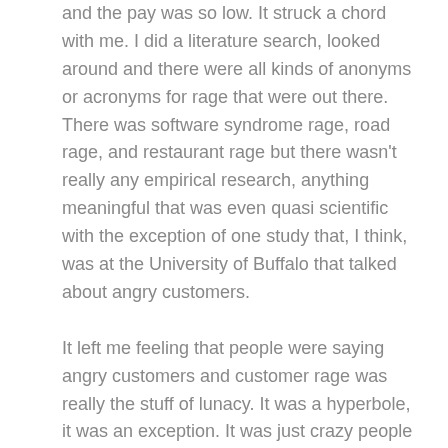and the pay was so low. It struck a chord with me. I did a literature search, looked around and there were all kinds of anonyms or acronyms for rage that were out there. There was software syndrome rage, road rage, and restaurant rage but there wasn't really any empirical research, anything meaningful that was even quasi scientific with the exception of one study that, I think, was at the University of Buffalo that talked about angry customers.
It left me feeling that people were saying angry customers and customer rage was really the stuff of lunacy. It was a hyperbole, it was an exception. It was just crazy people that painted the car yellow and stood outside the auto companies, lemon laws, that sort of thing. And that didn't seem right to me. I knew personally, I've gone through my own fits of rage